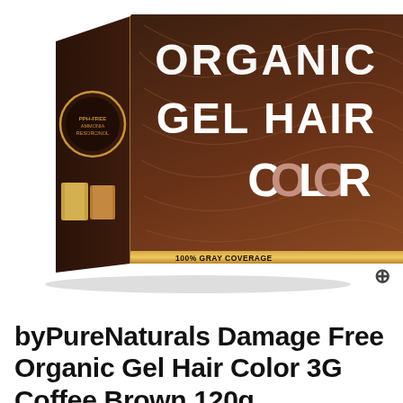[Figure (photo): Product photo of a box of byPureNaturals Organic Gel Hair Color in Coffee Brown shade. The box has a dark brown background with hair texture imagery and large text reading 'ORGANIC GEL HAIR COLOR'. The bottom shows '100% GRAY COVERAGE' and '60g+5g+5g+50ml | 120g'. A zoom icon appears at the bottom right.]
byPureNaturals Damage Free Organic Gel Hair Color 3G Coffee Brown 120g